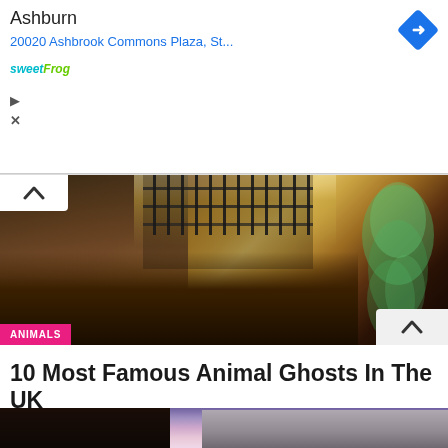[Figure (screenshot): Advertisement banner showing 'Ashburn' location with address '20020 Ashbrook Commons Plaza, St...' in blue, sweetFrog logo in teal/green, a blue diamond directions icon on the right, and small play/close icons on the left.]
[Figure (photo): A dark, moody interior of an old stone building with iron gate bars visible at top, wooden debris on floor illuminated by light, and a translucent green ghost figure on the right side. Has an ANIMALS badge in pink bottom-left and a chevron-up button bottom-right.]
10 Most Famous Animal Ghosts In The UK
[Figure (photo): A narrow cobblestone street scene at dusk/dawn with purple and pink sky, old buildings on either side, and what appears to be a large dark animal (bear or similar creature) in the foreground left.]